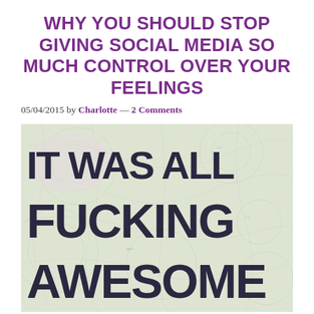WHY YOU SHOULD STOP GIVING SOCIAL MEDIA SO MUCH CONTROL OVER YOUR FEELINGS
05/04/2015 by Charlotte — 2 Comments
[Figure (photo): Photo of a printed poster with bold dark text reading 'IT WAS ALL FUCKING AWESOME' overlaid on a faded map background. The text is in a heavy uppercase sans-serif stamp font. Only three lines are fully or partially visible: 'IT WAS ALL', 'FUCKING', and 'AWESOME' (partially cropped at the bottom).]